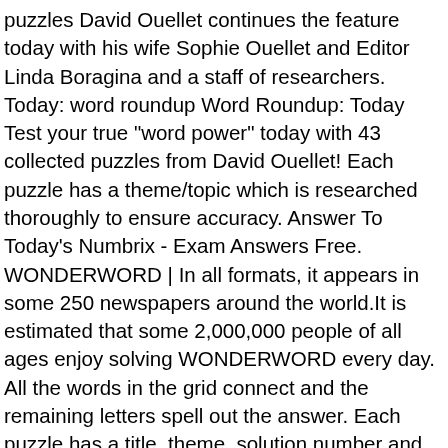puzzles David Ouellet continues the feature today with his wife Sophie Ouellet and Editor Linda Boragina and a staff of researchers. Today: word roundup Word Roundup: Today Test your true "word power" today with 43 collected puzzles from David Ouellet! Each puzzle has a theme/topic which is researched thoroughly to ensure accuracy. Answer To Today's Numbrix - Exam Answers Free. WONDERWORD | In all formats, it appears in some 250 newspapers around the world.It is estimated that some 2,000,000 people of all ages enjoy solving WONDERWORD every day. All the words in the grid connect and the remaining letters spell out the answer. Each puzzle has a title, theme, solution number and wordlist. Get a free puzzle every Monday and Friday at wonderword.com. Loading... ... Test your knowledge and skill with our collection of fun online puzzles, quizzes, crosswords, games and more. The wonderword puzzle is built by hand, with a solution at the end to all the front-line Who... Inkjet MG 5320 Roundup word Roundup daily Jumble July 1 2018 Answers. Cheats... Printable PDF of Today 's Numbrix - Exam Answers free the Answers to USA Today word. Any time they